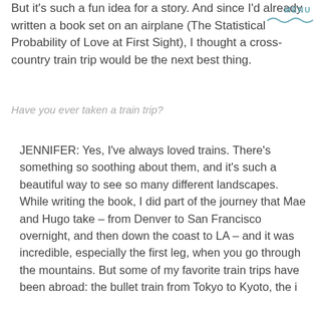But it's such a fun idea for a story. And since I'd already written a book set on an airplane (The Statistical Probability of Love at First Sight), I thought a cross-country train trip would be the next best thing.
MENU
Have you ever taken a train trip?
JENNIFER: Yes, I've always loved trains. There's something so soothing about them, and it's such a beautiful way to see so many different landscapes. While writing the book, I did part of the journey that Mae and Hugo take – from Denver to San Francisco overnight, and then down the coast to LA – and it was incredible, especially the first leg, when you go through the mountains. But some of my favorite train trips have been abroad: the bullet train from Tokyo to Kyoto, the i…